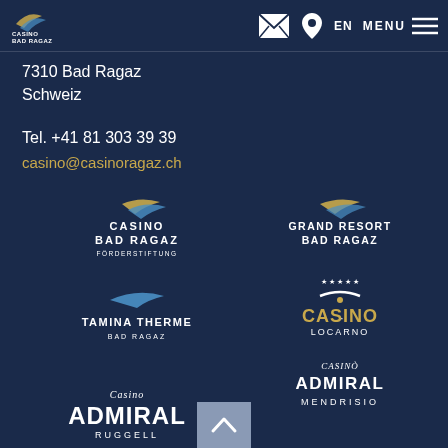[Figure (logo): Casino Bad Ragaz logo in nav bar]
[Figure (infographic): Navigation bar with envelope icon, pin icon, EN language selector, and MENU button]
7310 Bad Ragaz
Schweiz
Tel. +41 81 303 39 39
casino@casinoragaz.ch
[Figure (logo): Casino Bad Ragaz Förderstiftung logo]
[Figure (logo): Tamina Therme Bad Ragaz logo]
[Figure (logo): Grand Resort Bad Ragaz logo]
[Figure (logo): Casino Locarno logo with stars]
[Figure (logo): Casinò Admiral Mendrisio logo]
[Figure (logo): Casino Admiral Ruggell logo]
[Figure (other): Scroll to top button with chevron up arrow]